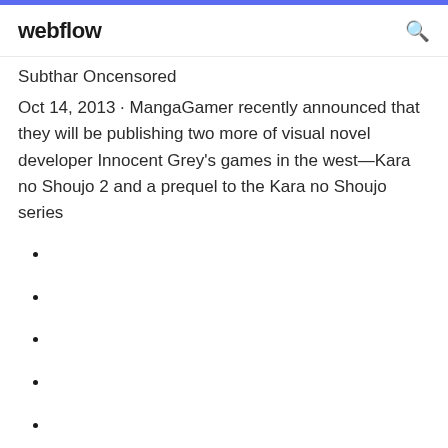webflow
Subthar Oncensored
Oct 14, 2013 · MangaGamer recently announced that they will be publishing two more of visual novel developer Innocent Grey's games in the west—Kara no Shoujo 2 and a prequel to the Kara no Shoujo series